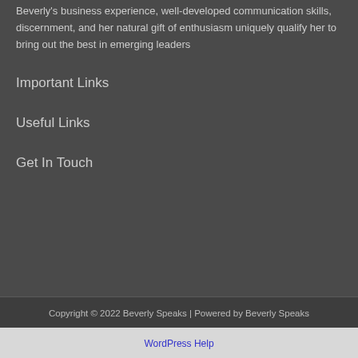Beverly's business experience, well-developed communication skills, discernment, and her natural gift of enthusiasm uniquely qualify her to bring out the best in emerging leaders
Important Links
Useful Links
Get In Touch
Copyright © 2022 Beverly Speaks | Powered by Beverly Speaks
WordPress Help